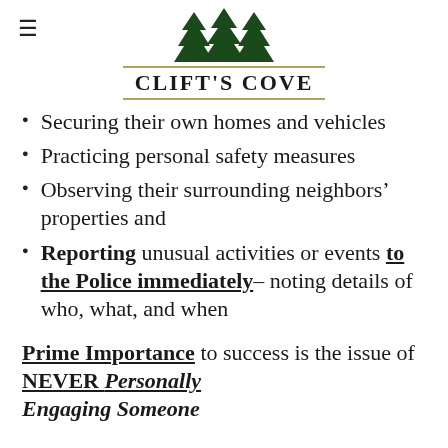Clift's Cove
Securing their own homes and vehicles
Practicing personal safety measures
Observing their surrounding neighbors' properties and
Reporting unusual activities or events to the Police immediately– noting details of who, what, and when
Prime Importance to success is the issue of NEVER Personally Engaging Someone